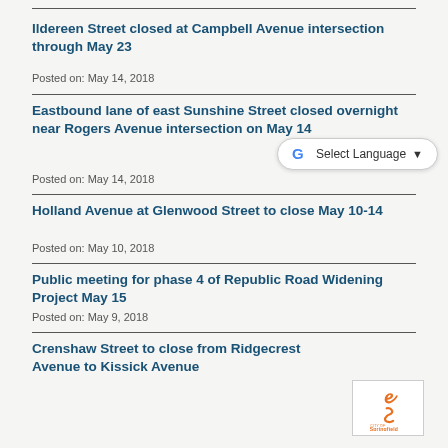Ildereen Street closed at Campbell Avenue intersection through May 23
Posted on: May 14, 2018
Eastbound lane of east Sunshine Street closed overnight near Rogers Avenue intersection on May 14
Posted on: May 14, 2018
Holland Avenue at Glenwood Street to close May 10-14
Posted on: May 10, 2018
Public meeting for phase 4 of Republic Road Widening Project May 15
Posted on: May 9, 2018
Crenshaw Street to close from Ridgecrest Avenue to Kissick Avenue
[Figure (logo): City of Springfield logo with orange S and text]